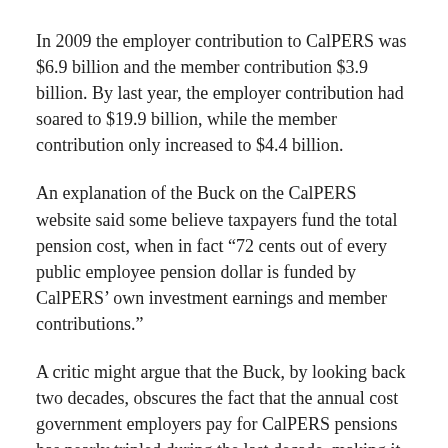In 2009 the employer contribution to CalPERS was $6.9 billion and the member contribution $3.9 billion. By last year, the employer contribution had soared to $19.9 billion, while the member contribution only increased to $4.4 billion.
An explanation of the Buck on the CalPERS website said some believe taxpayers fund the total pension cost, when in fact “72 cents out of every public employee pension dollar is funded by CalPERS’ own investment earnings and member contributions.”
A critic might argue that the Buck, by looking back two decades, obscures the fact that the annual cost government employers pay for CalPERS pensions has nearly tripled during the last decade, making it a larger part of the pension buck income.
As for any worry that CalPERS may soon run out of